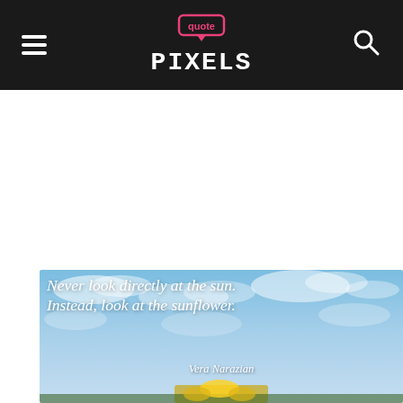Quote Pixels - navigation header with hamburger menu, logo, and search icon
[Figure (illustration): Sky background with clouds and sunflower visible at bottom, overlaid with italic white text quote: 'Never look directly at the sun. Instead, look at the sunflower.' attributed to Vera Narazian]